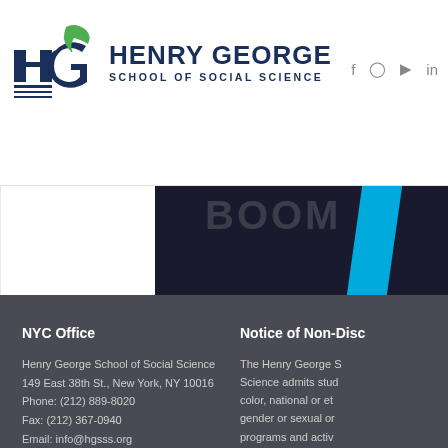[Figure (logo): Henry George School of Social Science logo with HG letters and green leaf, followed by school name in dark navy]
[Figure (screenshot): Website header screenshot showing Henry George School of Social Science navigation bar with social media icons (Facebook, Instagram, YouTube, LinkedIn), and a partial hero banner with dark background, 'BOOM' text watermark and blue diagonal stripe]
NYC Office

Henry George School of Social Science
149 East 38th St., New York, NY 10016
Phone: (212) 889-8020
Fax: (212) 367-0940
Email: info@hgsss.org
Notice of Non-Disc

The Henry George S
Science admits stud
color, national or et
gender or sexual or
programs and activ
abilities